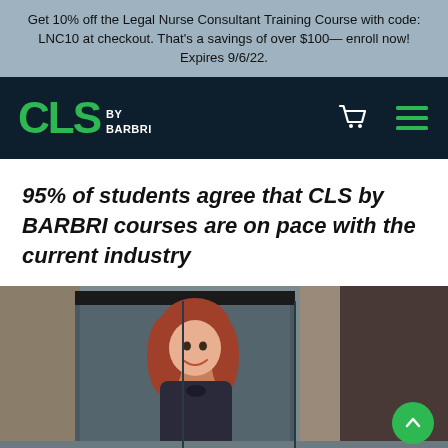Get 10% off the Legal Nurse Consultant Training Course with code: LNC10 at checkout. That's a savings of over $100— enroll now! Expires 9/6/22.
[Figure (logo): CLS by BARBRI logo in dark navy navigation bar with shopping cart and hamburger menu icons]
95% of students agree that CLS by BARBRI courses are on pace with the current industry
[Figure (photo): A smiling red-haired woman in professional attire standing outside a building with glass doors, talking with another person whose back is to the camera. A green scroll-to-top button is overlaid in the bottom right corner.]